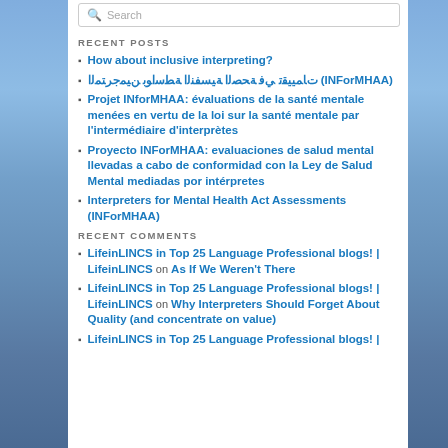RECENT POSTS
How about inclusive interpreting?
ﺕﺎﻤﻴﻴﻘﺗ ﻲﻓ ﺔﺤﺼﻟا ﺔﻴﺴﻔﻨﻟا ﺔﻄﺳاﻮﺑ ﻦﻴﻤﺟﺮﺘﻤﻟا (INForMHAA)
Projet INforMHAA: évaluations de la santé mentale menées en vertu de la loi sur la santé mentale par l'intermédiaire d'interprètes
Proyecto INForMHAA: evaluaciones de salud mental llevadas a cabo de conformidad con la Ley de Salud Mental mediadas por intérpretes
Interpreters for Mental Health Act Assessments (INForMHAA)
RECENT COMMENTS
LifeinLINCS in Top 25 Language Professional blogs! | LifeinLINCS on As If We Weren't There
LifeinLINCS in Top 25 Language Professional blogs! | LifeinLINCS on Why Interpreters Should Forget About Quality (and concentrate on value)
LifeinLINCS in Top 25 Language Professional blogs! |